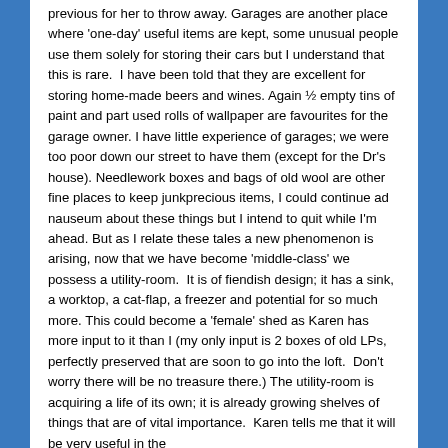previous for her to throw away. Garages are another place where 'one-day' useful items are kept, some unusual people use them solely for storing their cars but I understand that this is rare.  I have been told that they are excellent for storing home-made beers and wines. Again ½ empty tins of paint and part used rolls of wallpaper are favourites for the garage owner. I have little experience of garages; we were too poor down our street to have them (except for the Dr's house). Needlework boxes and bags of old wool are other fine places to keep junkprecious items, I could continue ad nauseum about these things but I intend to quit while I'm ahead. But as I relate these tales a new phenomenon is arising, now that we have become 'middle-class' we possess a utility-room.  It is of fiendish design; it has a sink, a worktop, a cat-flap, a freezer and potential for so much more. This could become a 'female' shed as Karen has more input to it than I (my only input is 2 boxes of old LPs, perfectly preserved that are soon to go into the loft.  Don't worry there will be no treasure there.) The utility-room is acquiring a life of its own; it is already growing shelves of things that are of vital importance.  Karen tells me that it will be very useful in the